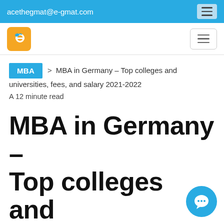acethegmat@e-gmat.com
[Figure (logo): e-GMAT logo: orange rounded square with stylized 'e' letter in blue/white]
MBA  >  MBA in Germany – Top colleges and universities, fees, and salary 2021-2022
A 12 minute read
MBA in Germany – Top colleges and universities, fees, and